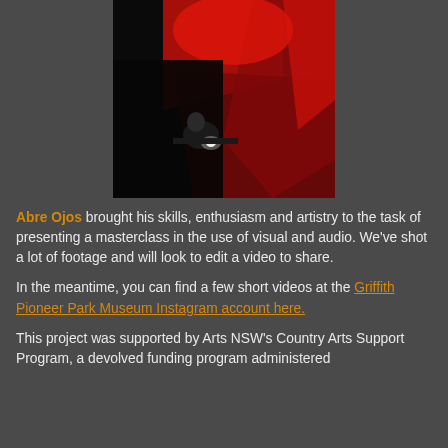[Figure (photo): A person (artist/DJ) illuminated by a bright light working at a desk or equipment setup, surrounded by dramatic red lighting and dark background with red geometric shapes]
Abre Ojos brought his skills, enthusiasm and artistry to the task of presenting a masterclass in the use of visual and audio. We've shot a lot of footage and will look to edit a video to share.
In the meantime, you can find a few short videos at the Griffith Pioneer Park Museum Instagram account here.
This project was supported by Arts NSW's Country Arts Support Program, a devolved funding program administered